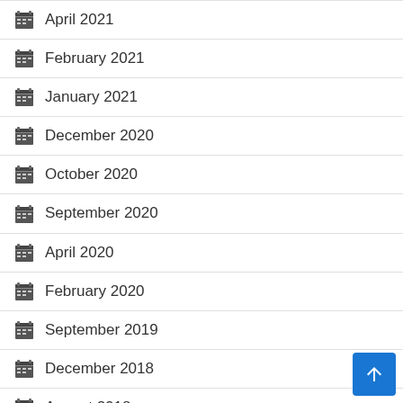April 2021
February 2021
January 2021
December 2020
October 2020
September 2020
April 2020
February 2020
September 2019
December 2018
August 2018
July 2018
April 2017